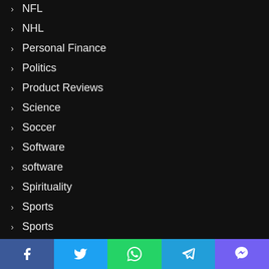NFL
NHL
Personal Finance
Politics
Product Reviews
Science
Soccer
Software
software
Spirituality
Sports
Sports
Startups
Stock Market